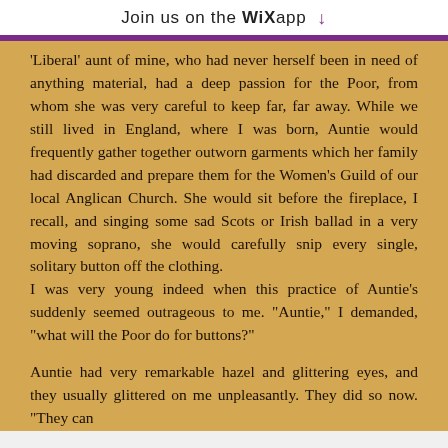Join us on the WiX app ↓
'Liberal' aunt of mine, who had never herself been in need of anything material, had a deep passion for the Poor, from whom she was very careful to keep far, far away. While we still lived in England, where I was born, Auntie would frequently gather together outworn garments which her family had discarded and prepare them for the Women's Guild of our local Anglican Church. She would sit before the fireplace, I recall, and singing some sad Scots or Irish ballad in a very moving soprano, she would carefully snip every single, solitary button off the clothing.
I was very young indeed when this practice of Auntie's suddenly seemed outrageous to me. "Auntie," I demanded, "what will the Poor do for buttons?"

Auntie had very remarkable hazel and glittering eyes, and they usually glittered on me unpleasantly. They did so now. "They can